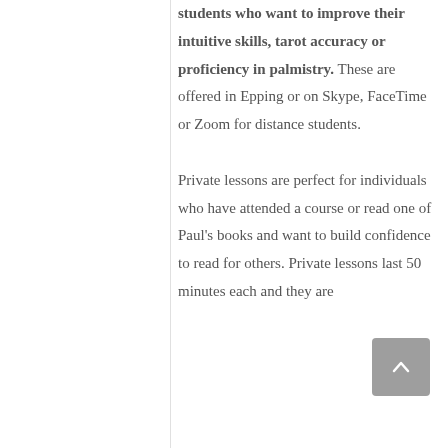students who want to improve their intuitive skills, tarot accuracy or proficiency in palmistry. These are offered in Epping or on Skype, FaceTime or Zoom for distance students.

Private lessons are perfect for individuals who have attended a course or read one of Paul's books and want to build confidence to read for others. Private lessons last 50 minutes each and they are tailored to their individual...